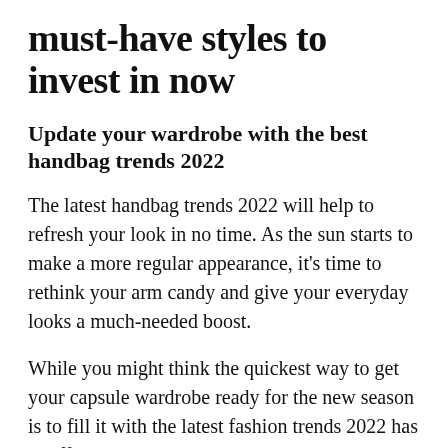must-have styles to invest in now
Update your wardrobe with the best handbag trends 2022
The latest handbag trends 2022 will help to refresh your look in no time. As the sun starts to make a more regular appearance, it's time to rethink your arm candy and give your everyday looks a much-needed boost.
While you might think the quickest way to get your capsule wardrobe ready for the new season is to fill it with the latest fashion trends 2022 has to offer, savvy shoppers know that the key to embracing the new season in an instant is si…